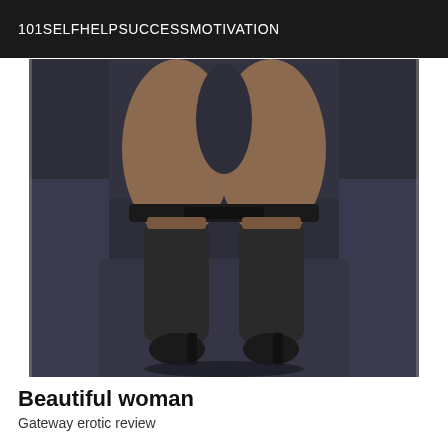101SELFHELPSUCCESSMOTIVATION
[Figure (photo): Close-up photo of a woman's legs wearing black stockings with garter straps and black high heel shoes, seated on a dark sofa/couch]
Beautiful woman
Gateway erotic review